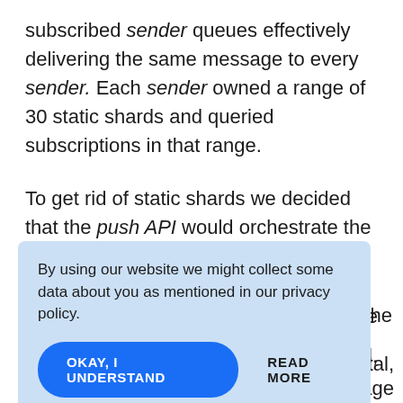subscribed sender queues effectively delivering the same message to every sender. Each sender owned a range of 30 static shards and queried subscriptions in that range.
To get rid of static shards we decided that the push API would orchestrate the shards. It would send multiple messages to a single queue providing c [obscured] The r [obscured] s [obscured] otal, i [obscured] age t [obscured] he shards. So, a message from the push
By using our website we might collect some data about you as mentioned in our privacy policy.
OKAY, I UNDERSTAND    READ MORE